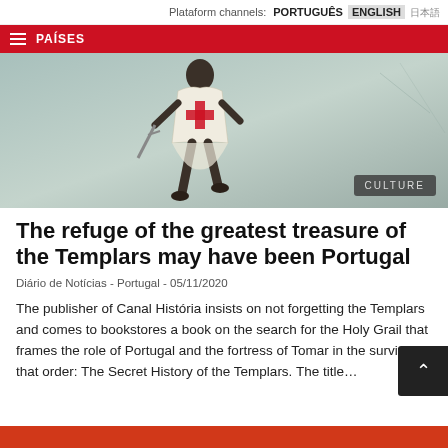Plataform channels: PORTUGUÊS ENGLISH 日本語
PAÍSES
[Figure (illustration): Medieval illustration showing a Templar knight figure walking, wearing a white tunic/surcoat and carrying a sword, against a weathered painted background. A 'CULTURE' badge appears in the bottom-right corner.]
The refuge of the greatest treasure of the Templars may have been Portugal
Diário de Notícias - Portugal - 05/11/2020
The publisher of Canal História insists on not forgetting the Templars and comes to bookstores a book on the search for the Holy Grail that frames the role of Portugal and the fortress of Tomar in the survival of that order: The Secret History of the Templars. The title…